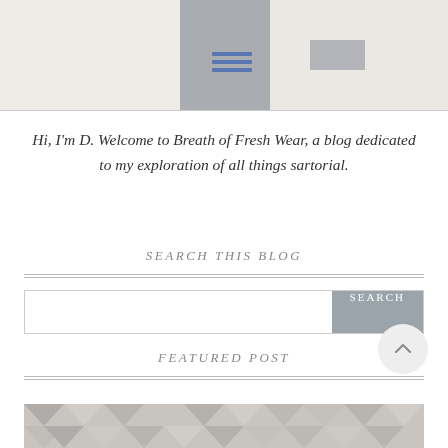[Figure (photo): Partial view of a gray necktie or cloth item on a white textured surface with blue horizontal lines detail]
Hi, I'm D. Welcome to Breath of Fresh Wear, a blog dedicated to my exploration of all things sartorial.
SEARCH THIS BLOG
[Figure (screenshot): Search bar with a gray SEARCH button on the right]
FEATURED POST
[Figure (photo): Partial view of a geometric patterned fabric or surface in gray tones at the bottom of the page]